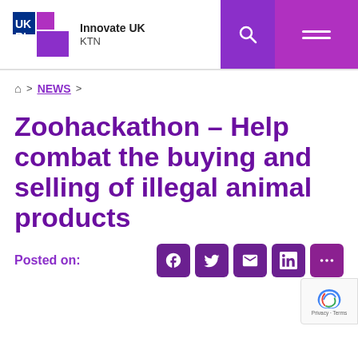Innovate UK KTN
🏠 > NEWS >
Zoohackathon – Help combat the buying and selling of illegal animal products
Posted on: